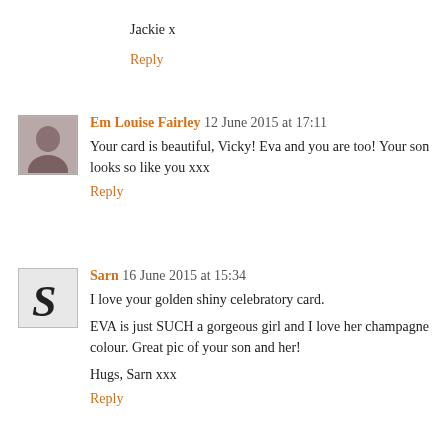Jackie x
Reply
Em Louise Fairley 12 June 2015 at 17:11
Your card is beautiful, Vicky! Eva and you are too! Your son looks so like you xxx
Reply
Sarn 16 June 2015 at 15:34
I love your golden shiny celebratory card.
EVA is just SUCH a gorgeous girl and I love her champagne colour. Great pic of your son and her!
Hugs, Sarn xxx
Reply